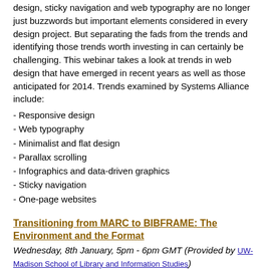design, sticky navigation and web typography are no longer just buzzwords but important elements considered in every design project. But separating the fads from the trends and identifying those trends worth investing in can certainly be challenging. This webinar takes a look at trends in web design that have emerged in recent years as well as those anticipated for 2014. Trends examined by Systems Alliance include:
- Responsive design
- Web typography
- Minimalist and flat design
- Parallax scrolling
- Infographics and data-driven graphics
- Sticky navigation
- One-page websites
Transitioning from MARC to BIBFRAME: The Environment and the Format
Wednesday, 8th January, 5pm - 6pm GMT (Provided by UW-Madison School of Library and Information Studies)
MARC is dead! How many times have you heard that during your career in libraries?